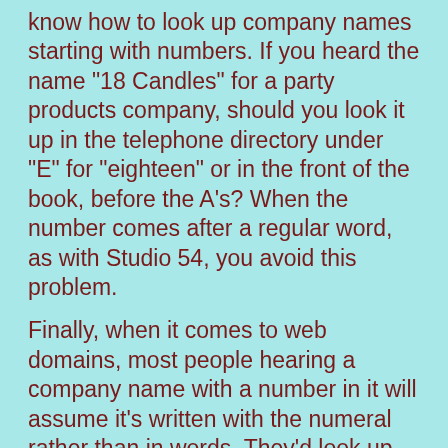know how to look up company names starting with numbers. If you heard the name "18 Candles" for a party products company, should you look it up in the telephone directory under "E" for "eighteen" or in the front of the book, before the A's? When the number comes after a regular word, as with Studio 54, you avoid this problem.
Finally, when it comes to web domains, most people hearing a company name with a number in it will assume it's written with the numeral rather than in words. They'd look up motel6.com rather than motelsix.com. Even so, you'd be smart to reserve both versions. Motel6.com indeed corresponds to the motel chain, but motelsix.com goes to a site for finding a cheap motel room. Likewise, the founder of fivethirtyeight.com, a political web site referring to the number of seats in the U.S. Congress, thought the written-out-words looked more elegant and neglected to reserve the domain 538.com.
------------------------------------------------------------------------
Marcia Yudkin is Head Stork of Named At Last, a company that brainstorms creative business names, product names